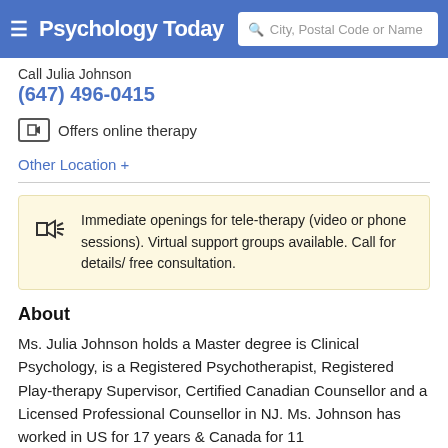Psychology Today — City, Postal Code or Name search bar
Call Julia Johnson
(647) 496-0415
Offers online therapy
Other Location +
Immediate openings for tele-therapy (video or phone sessions). Virtual support groups available. Call for details/ free consultation.
About
Ms. Julia Johnson holds a Master degree is Clinical Psychology, is a Registered Psychotherapist, Registered Play-therapy Supervisor, Certified Canadian Counsellor and a Licensed Professional Counsellor in NJ. Ms. Johnson has worked in US for 17 years & Canada for 11